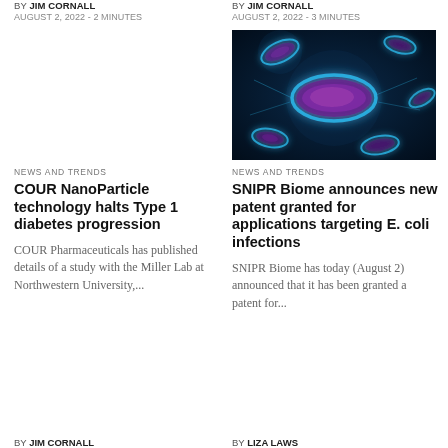BY JIM CORNALL
AUGUST 2, 2022 - 2 MINUTES
BY JIM CORNALL
AUGUST 2, 2022 - 3 MINUTES
[Figure (photo): Microscopic illustration of glowing blue bacteria (E. coli) on dark blue background]
NEWS AND TRENDS
NEWS AND TRENDS
COUR NanoParticle technology halts Type 1 diabetes progression
SNIPR Biome announces new patent granted for applications targeting E. coli infections
COUR Pharmaceuticals has published details of a study with the Miller Lab at Northwestern University,...
SNIPR Biome has today (August 2) announced that it has been granted a patent for...
BY JIM CORNALL
BY LIZA LAWS